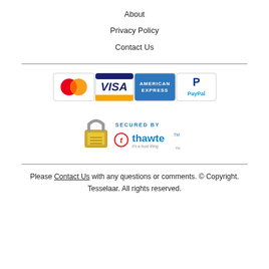About
Privacy Policy
Contact Us
[Figure (logo): Payment method logos: MasterCard, VISA, American Express, PayPal]
[Figure (logo): Secured by Thawte security badge with padlock icon]
Please Contact Us with any questions or comments. © Copyright. Tesselaar. All rights reserved.